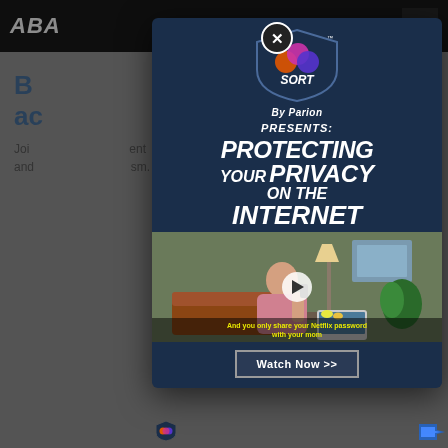[Figure (screenshot): Website background showing ABA logo in dark header bar with navigation menu icon, partially visible blue headline text and body text below, all dimmed by modal overlay]
[Figure (infographic): SORT by Parion promotional modal popup with dark blue background. Shows SORT shield logo at top, text 'PRESENTS: PROTECTING YOUR PRIVACY ON THE INTERNET' in large bold italic white text, a video thumbnail showing a person on phone at laptop with subtitle 'And you only share your Netflix password with your mom', a 'Watch Now >>' button, and a close button (X) in top right corner.]